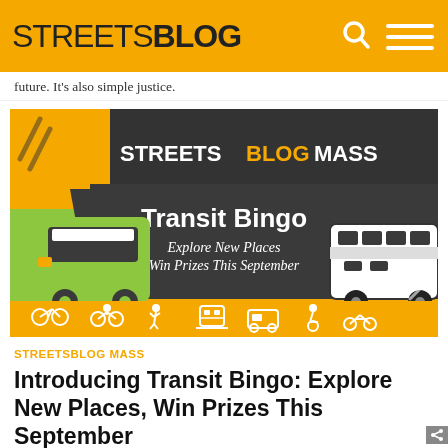STREETSBLOG
future. It’s also simple justice.
[Figure (illustration): Streetsblog Mass Transit Bingo promotional banner. Yellow and dark gray background with two bus illustrations (green stylized bus on left, realistic white/black bus on right). Text reads 'STREETSBLOG MASS', 'Transit Bingo', 'Explore New Places Win Prizes This September'. Bottom strip has orange background with white transport icons: bicycle, cyclist, pedestrian, train, tuk-tuk, wheelchair user, scooter, and other symbols.]
STREETSBLOG MASS
Introducing Transit Bingo: Explore New Places, Win Prizes This September